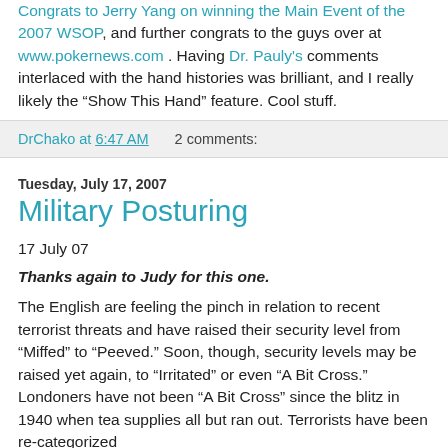Congrats to Jerry Yang on winning the Main Event of the 2007 WSOP, and further congrats to the guys over at www.pokernews.com . Having Dr. Pauly's comments interlaced with the hand histories was brilliant, and I really likely the “Show This Hand” feature. Cool stuff.
DrChako at 6:47 AM    2 comments:
Tuesday, July 17, 2007
Military Posturing
17 July 07
Thanks again to Judy for this one.
The English are feeling the pinch in relation to recent terrorist threats and have raised their security level from “Miffed” to “Peeved.” Soon, though, security levels may be raised yet again, to “Irritated” or even “A Bit Cross.” Londoners have not been “A Bit Cross” since the blitz in 1940 when tea supplies all but ran out. Terrorists have been re-categorized